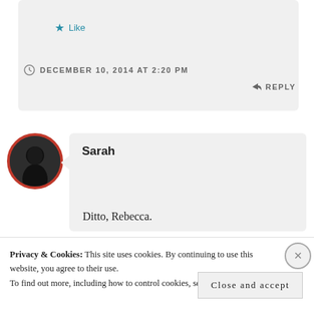Like
DECEMBER 10, 2014 AT 2:20 PM
REPLY
Sarah
Ditto, Rebecca.
Privacy & Cookies: This site uses cookies. By continuing to use this website, you agree to their use. To find out more, including how to control cookies, see here: Cookie Policy
Close and accept